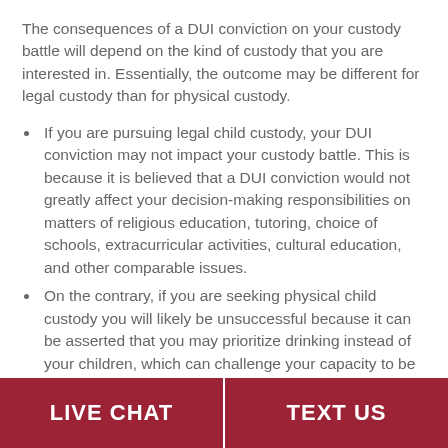The consequences of a DUI conviction on your custody battle will depend on the kind of custody that you are interested in. Essentially, the outcome may be different for legal custody than for physical custody.
If you are pursuing legal child custody, your DUI conviction may not impact your custody battle. This is because it is believed that a DUI conviction would not greatly affect your decision-making responsibilities on matters of religious education, tutoring, choice of schools, extracurricular activities, cultural education, and other comparable issues.
On the contrary, if you are seeking physical child custody you will likely be unsuccessful because it can be asserted that you may prioritize drinking instead of your children, which can challenge your capacity to be an adequate parent. Also, it can also
LIVE CHAT   TEXT US